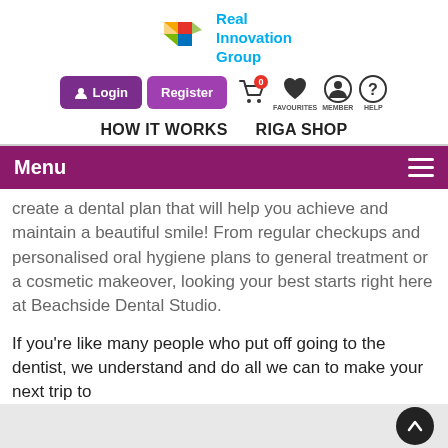[Figure (logo): Real Innovation Group logo with colorful geometric R shape and blue text]
[Figure (screenshot): Navigation bar with Login and Register purple buttons, cart icon with 0 badge, Favourites heart icon, Member person icon, Help question mark icon]
HOW IT WORKS   RIGA SHOP
Menu
create a dental plan that will help you achieve and maintain a beautiful smile! From regular checkups and personalised oral hygiene plans to general treatment or a cosmetic makeover, looking your best starts right here at Beachside Dental Studio.
If you're like many people who put off going to the dentist, we understand and do all we can to make your next trip to